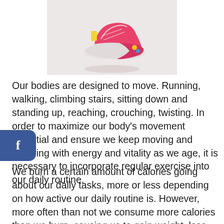[Figure (photo): A pink/colorful running shoe floating or jumping against a light pinkish-white background, viewed from the side, with a shadow beneath it.]
Our bodies are designed to move. Running, walking, climbing stairs, sitting down and standing up, reaching, crouching, twisting. In order to maximize our body's movement potential and ensure we keep moving and grooving with energy and vitality as we age, it is necessary to incorporate regular exercise into our daily routine.
We burn a certain amount of calories going about our daily tasks, more or less depending on how active our daily routine is. However, more often than not we consume more calories than we burn, causing us to gain weight, lose energy and often we become lethargic and depressed as a result. Ultimately we become ill from a lack of activity, which makes us even less likely or able to